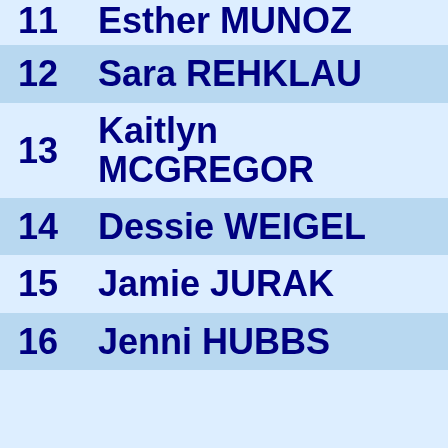11  Esther MUNOZ
12  Sara REHKLAU
13  Kaitlyn MCGREGOR
14  Dessie WEIGEL
15  Jamie JURAK
16  Jenni HUBBS